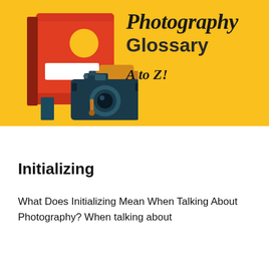[Figure (illustration): Photography Glossary A to Z banner with a yellow/gold background. On the left side, a red book with a gold circle and white rectangle on its cover, with a dark teal bookmark ribbon, and in front of it a dark teal vintage camera. On the right side, the text 'Photography' in italic script, 'Glossary' in bold sans-serif, and 'A to Z!' in handwritten italic style.]
Initializing
What Does Initializing Mean When Talking About Photography? When talking about